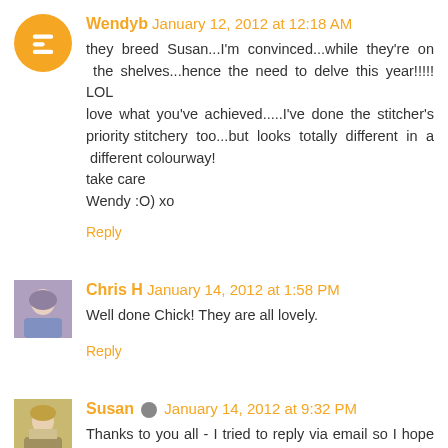Wendyb January 12, 2012 at 12:18 AM
they breed Susan...I'm convinced...while they're on the shelves...hence the need to delve this year!!!!! LOL
love what you've achieved.....I've done the stitcher's priority stitchery too...but looks totally different in a different colourway!
take care
Wendy :O) xo
Reply
Chris H January 14, 2012 at 1:58 PM
Well done Chick! They are all lovely.
Reply
Susan January 14, 2012 at 9:32 PM
Thanks to you all - I tried to reply via email so I hope you got my messages